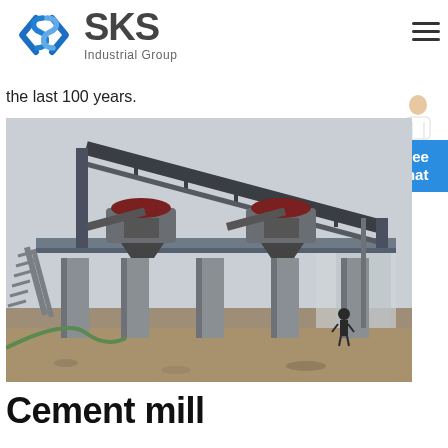[Figure (logo): SKS Industrial Group logo with blue angular S icon and bold grey SKS text with 'Industrial Group' subtitle]
the last 100 years.
[Figure (photo): Industrial cement processing plant with large conveyor belt structure, crushing machinery on elevated platform, concrete pillars, staircases, and a worker visible in background]
Cement mill